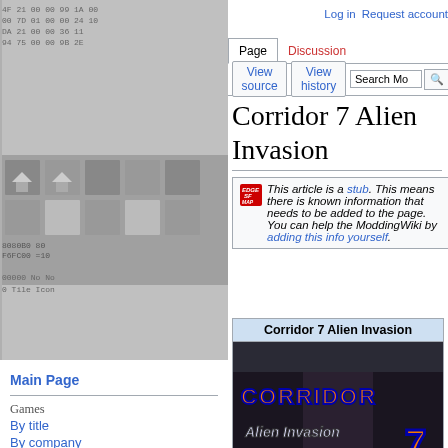[Figure (screenshot): Hex code and pixel art tile viewer in sidebar background]
Log in   Request account
Page  Discussion
View source   View history   Search Mo
Corridor 7 Alien Invasion
This article is a stub. This means there is known information that needs to be added to the page. You can help the ModdingWiki by adding this info yourself.
Corridor 7 Alien Invasion
[Figure (screenshot): Corridor 7 Alien Invasion game title screen with orange/blue text on dark background]
Main Page
Games
By title
By company
By genre
Modded
Cheats
Modding
Programs
Tutorials
Community portal